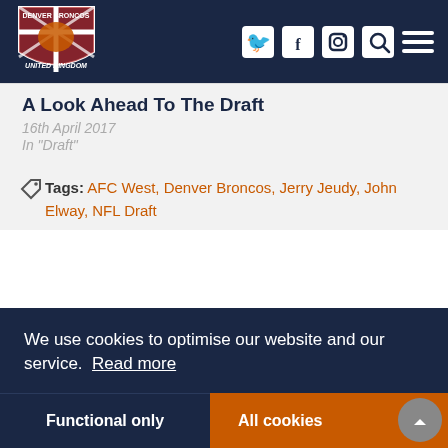[Figure (logo): Denver Broncos United Kingdom logo shield with British flag and bronco horse]
[Figure (infographic): Navigation bar with Twitter, Facebook, Instagram, Search, and hamburger menu icons on dark navy background]
A Look Ahead To The Draft
16th April 2017
In "Draft"
Tags: AFC West, Denver Broncos, Jerry Jeudy, John Elway, NFL Draft
We use cookies to optimise our website and our service. Read more
Functional only
All cookies